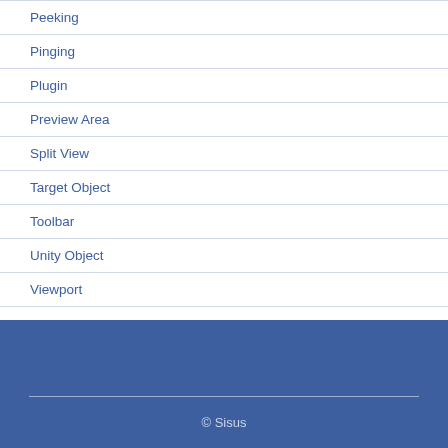Peeking
Pinging
Plugin
Preview Area
Split View
Target Object
Toolbar
Unity Object
Viewport
© Sisus